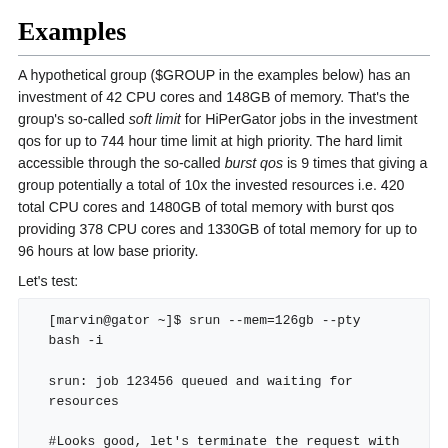Examples
A hypothetical group ($GROUP in the examples below) has an investment of 42 CPU cores and 148GB of memory. That's the group's so-called soft limit for HiPerGator jobs in the investment qos for up to 744 hour time limit at high priority. The hard limit accessible through the so-called burst qos is 9 times that giving a group potentially a total of 10x the invested resources i.e. 420 total CPU cores and 1480GB of total memory with burst qos providing 378 CPU cores and 1330GB of total memory for up to 96 hours at low base priority.
Let's test:
[marvin@gator ~]$ srun --mem=126gb --pty bash -i

srun: job 123456 queued and waiting for resources

#Looks good, let's terminate the request with Ctrl+C>